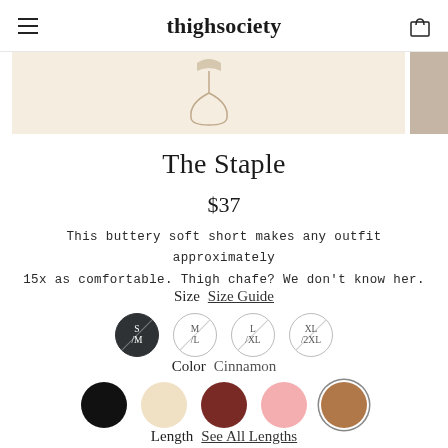thighsociety
[Figure (photo): Product photo of The Staple shorts on a light cream/beige background, with a small tan color swatch visible on the right edge.]
The Staple
$37
This buttery soft short makes any outfit approximately 15x as comfortable. Thigh chafe? We don't know her.
Size  Size Guide
Color  Cinnamon
Length  See All Lengths